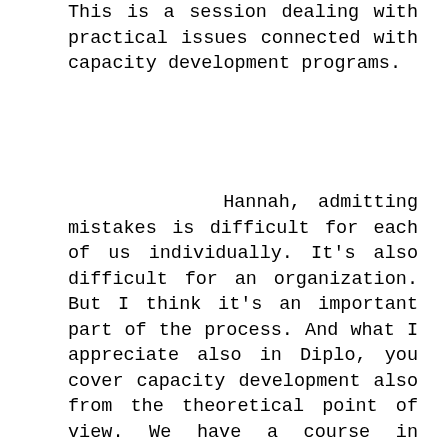This is a session dealing with practical issues connected with capacity development programs.
Hannah, admitting mistakes is difficult for each of us individually. It's also difficult for an organization. But I think it's an important part of the process. And what I appreciate also in Diplo, you cover capacity development also from the theoretical point of view. We have a course in capacity development which takes it more from theory and, you know, trying to integrate some of the